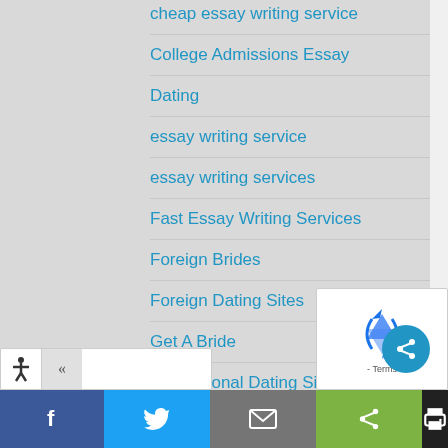cheap essay writing service
College Admissions Essay
Dating
essay writing service
essay writing services
Fast Essay Writing Services
Foreign Brides
Foreign Dating Sites
Get A Bride
International Dating Sites
last minute essay writing service
Looking For Marriage
…et A Bride
[Figure (screenshot): Bottom navigation toolbar with Facebook, Twitter, email, share, and print buttons]